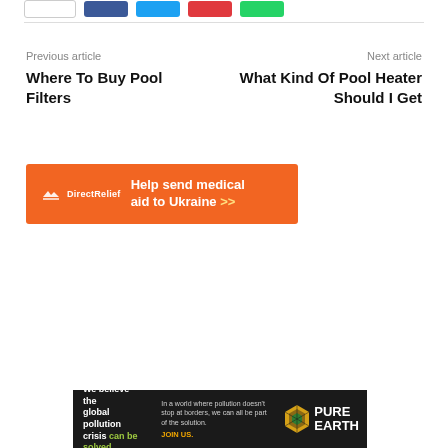[Figure (other): Social share buttons: white button, blue (Facebook), light blue (Twitter), red (Pinterest), green (WhatsApp)]
Previous article
Where To Buy Pool Filters
Next article
What Kind Of Pool Heater Should I Get
[Figure (infographic): Orange advertisement banner for Direct Relief: Help send medical aid to Ukraine >>]
[Figure (infographic): Dark advertisement banner for Pure Earth: We believe the global pollution crisis can be solved. In a world where pollution doesn't stop at borders, we can all be part of the solution. JOIN US.]